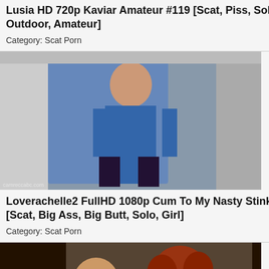Lusia HD 720p Kaviar Amateur #119 [Scat, Piss, Solo, Outdoor, Amateur]
Category: Scat Porn
[Figure (photo): Thumbnail photo of a person in a bathroom wearing blue top and dark pants]
Loverachelle2 FullHD 1080p Cum To My Nasty Stinky Shit! [Scat, Big Ass, Big Butt, Solo, Girl]
Category: Scat Porn
[Figure (photo): Thumbnail photo of two women, one in black outfit and one with red curly hair]
Denisa Heaven DVDRip Laura & Daniella [Anal Toys, Piss, Spit, Scat, Lesbians]
Category: Scat Porn
Devil Sophie UltraHD 4K S
[Figure (screenshot): Red DOWNLOAD FREE button with arrow]
Lusia HD 720p Ka
→ All Scat